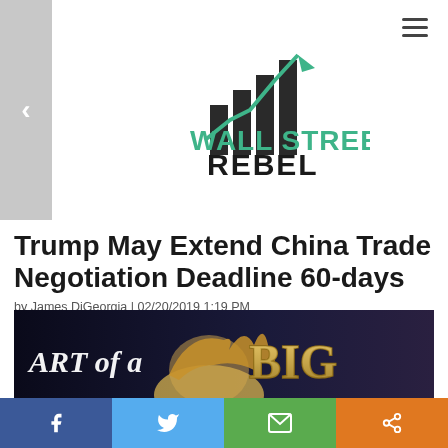[Figure (logo): Wall Street Rebel logo with green stock chart arrow and black bold text]
Trump May Extend China Trade Negotiation Deadline 60-days
by James DiGeorgia | 02/20/2019 1:19 PM
[Figure (photo): Promotional image with text 'ART of a BIG' over dark background with Trump silhouette]
[Figure (other): Social share bar with Facebook, Twitter, Email, and Share buttons]